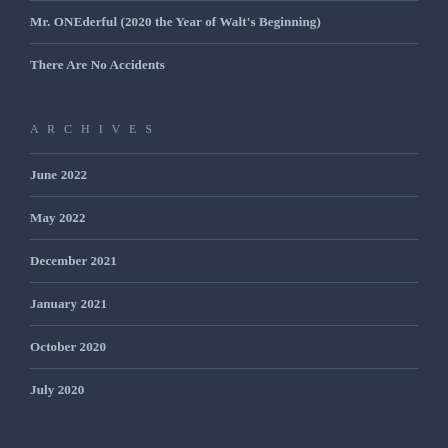Mr. ONEderful (2020 the Year of Walt's Beginning)
There Are No Accidents
ARCHIVES
June 2022
May 2022
December 2021
January 2021
October 2020
July 2020